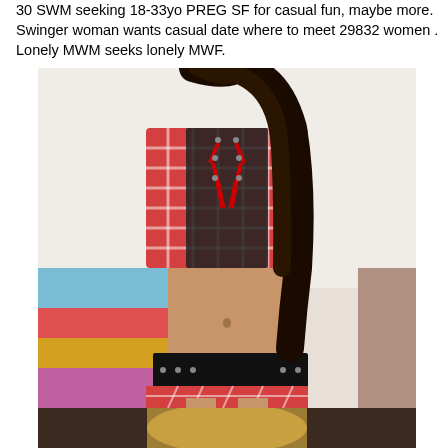30 SWM seeking 18-33yo PREG SF for casual fun, maybe more. Swinger woman wants casual date where to meet 29832 women . Lonely MWM seeks lonely MWF.
[Figure (photo): Photo of a person wearing a plaid crop top and plaid mini skirt with red lace-up details and a black belt, posing indoors near a colorful bed.]
[Figure (photo): Partial photo of another person, only the top of their head/hair visible, appears to be a blonde person, bottom of page.]